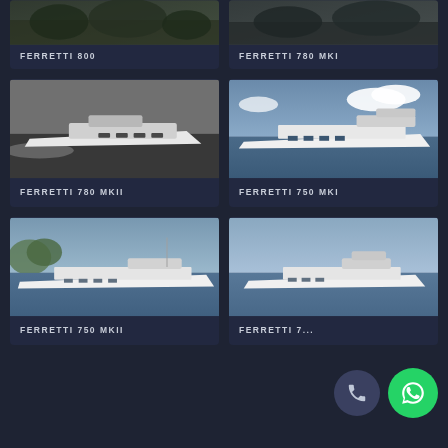[Figure (photo): Partial top row showing two Ferretti yacht cards cropped at top]
FERRETTI 800
FERRETTI 780 MKI
[Figure (photo): Ferretti 780 MKII yacht speeding on water, black and white photo]
FERRETTI 780 MKII
[Figure (photo): Ferretti 750 MKI yacht on calm water with clouds]
FERRETTI 750 MKI
[Figure (photo): Ferretti 750 MKII yacht on water, color photo]
FERRETTI 750 MKII
[Figure (photo): Ferretti yacht partially obscured by phone and WhatsApp buttons]
FERRETTI 7...